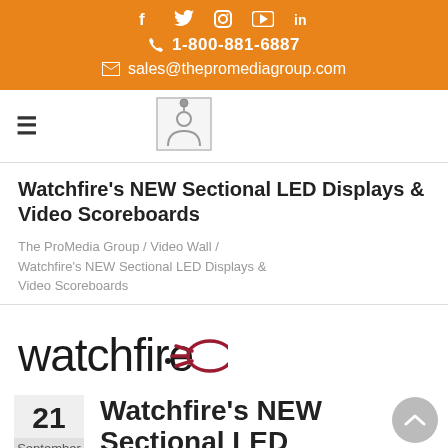Social icons: f, Twitter, Instagram, YouTube, LinkedIn | 1-800-881-6887 | sales@thepromediagroup.com
[Figure (logo): The ProMedia Group logo placeholder icon (person/picture frame icon)]
Watchfire's NEW Sectional LED Displays & Video Scoreboards
The ProMedia Group / Video Wall / Watchfire's NEW Sectional LED Displays & Video Scoreboards
[Figure (logo): Watchfire logo with stylized red arrow/comet graphic]
21 September
Watchfire's NEW Sectional LED